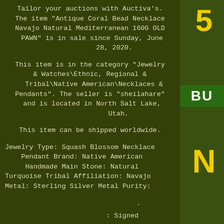Tailor your auctions with Auctiva's. The item "Antique Coral Bead Necklace Navajo Natural Mediterranean 160G OLD PAWN" is in sale since Sunday, June 28, 2020.

This item is in the category "Jewelry & Watches\Ethnic, Regional & Tribal\Native American\Necklaces & Pendants". The seller is "sheilahare" and is located in North Salt Lake, Utah.

This item can be shipped worldwide.

Jewelry Type: Squash Blossom Necklace Pendant Brand: Native American Handmade Main Stone: Natural Turquoise Tribal Affiliation: Navajo Metal: Sterling Silver Metal Purity:

.

: Signed

Signed: Signed Country of Origin:
[Figure (photo): Right side of image shows a green and yellow sign partially visible with letters 'S', 'BU', 'N' visible on a yellow/green background]